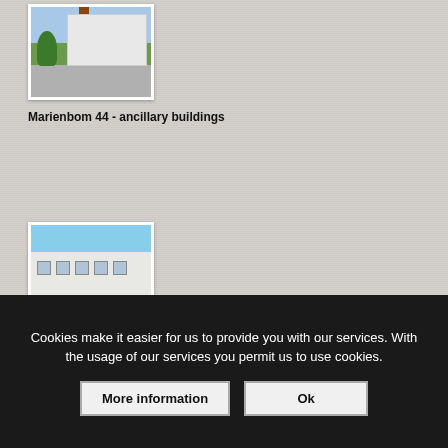[Figure (photo): Thumbnail photo of an outdoor scene with a white industrial/factory building, chimney, trees, and greenery in the background.]
Marienbom 44 - ancillary buildings
[Figure (photo): Thumbnail photo of a long white/grey single-storey barracks-style building with multiple windows, shot from the side.]
Cookies make it easier for us to provide you with our services. With the usage of our services you permit us to use cookies.
More information
Ok